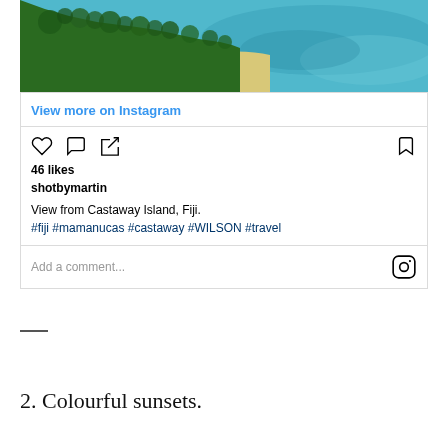[Figure (photo): Aerial view of tropical island with palm trees, sandy beach, and turquoise ocean water - Castaway Island, Fiji]
View more on Instagram
46 likes
shotbymartin
View from Castaway Island, Fiji.
#fiji #mamanucas #castaway #WILSON #travel
Add a comment...
—
2. Colourful sunsets.